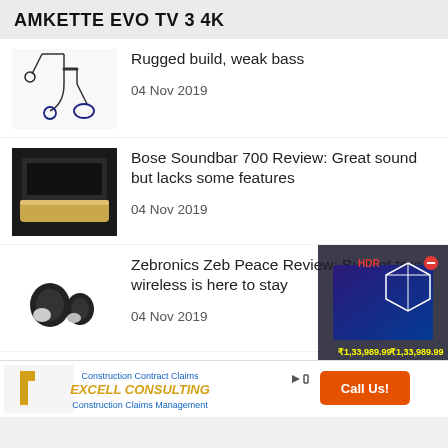AMKETTE EVO TV 3 4K
Rugged build, weak bass
04 Nov 2019
Bose Soundbar 700 Review: Great sound but lacks some features
04 Nov 2019
Zebronics Zeb Peace Review: Budget true wireless is here to stay
04 Nov 2019
Apple AirPods 2 Review: Truly wireless, truly
[Figure (photo): Ad banner: Excell Consulting - Construction Contract Claims and Construction Claims Management with Call Us! button]